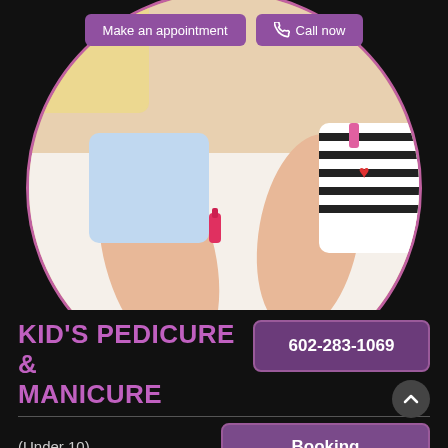[Figure (photo): Circular photo of two children sitting on a bed painting nails with nail polish and makeup items around them.]
Make an appointment
Call now
KID'S PEDICURE & MANICURE
602-283-1069
(Under 10)
Booking
Pedicure Spa
$20
Manicure
$10